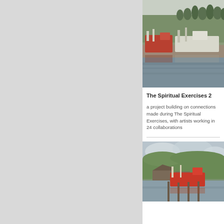[Figure (photo): Harbor scene with two ships moored at a dock, green hillside with trees in background, water in foreground]
The Spiritual Exercises 2
a project building on connections made during The Spiritual Exercises, with artists working in 24 collaborations
[Figure (photo): Harbor scene with a red boat docked, green rolling hills in background, cloudy sky overhead]